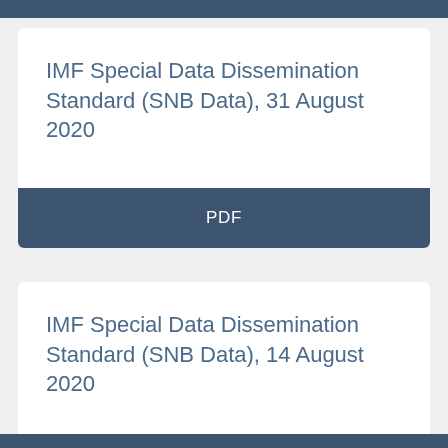IMF Special Data Dissemination Standard (SNB Data), 31 August 2020
PDF
IMF Special Data Dissemination Standard (SNB Data), 14 August 2020